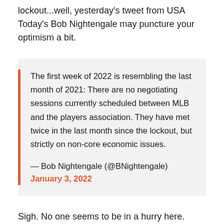lockout...well, yesterday's tweet from USA Today's Bob Nightengale may puncture your optimism a bit.
The first week of 2022 is resembling the last month of 2021: There are no negotiating sessions currently scheduled between MLB and the players association. They have met twice in the last month since the lockout, but strictly on non-core economic issues.

— Bob Nightengale (@BNightengale) January 3, 2022
Sigh. No one seems to be in a hurry here. We're just over a month away from when pitchers and catchers